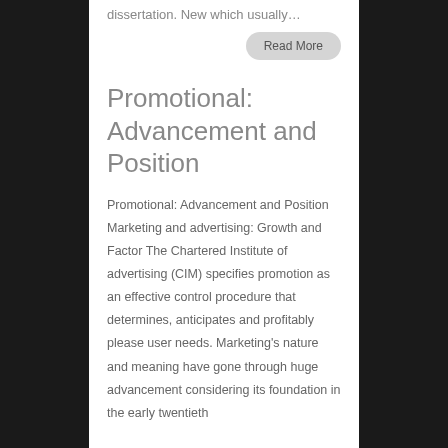dissertation. New which usually…
Read More
Promotional: Advancement and Position
Promotional: Advancement and Position Marketing and advertising: Growth and Factor The Chartered Institute of advertising (CIM) specifies promotion as an effective control procedure that determines, anticipates and profitably please user needs. Marketing's nature and meaning have gone through huge advancement considering its foundation in the early twentieth